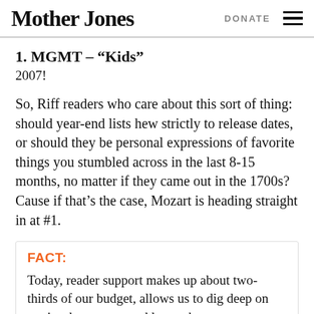Mother Jones | DONATE
1. MGMT – “Kids”
2007!
So, Riff readers who care about this sort of thing: should year-end lists hew strictly to release dates, or should they be personal expressions of favorite things you stumbled across in the last 8-15 months, no matter if they came out in the 1700s? Cause if that’s the case, Mozart is heading straight in at #1.
FACT: Today, reader support makes up about two-thirds of our budget, allows us to dig deep on stories that matter, and lets us keep our